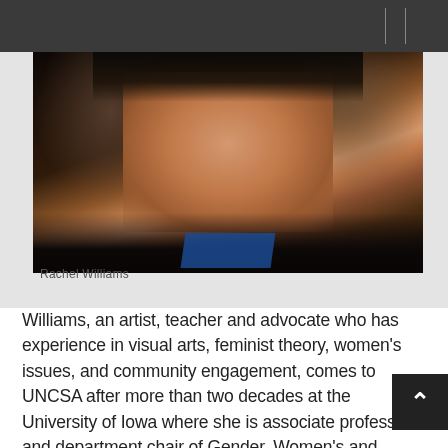[Figure (photo): Portrait photo of Rachel Williams, a woman with dark hair, shown from shoulders up against a dark background, wearing dark clothing with a blue accent.]
Rachel Williams
Williams, an artist, teacher and advocate who has experience in visual arts, feminist theory, women’s issues, and community engagement, comes to UNCSA after more than two decades at the University of Iowa where she is associate professor and department chair of Gender, Women’s and Sexuality Studies and Studio Art. Williams will oversee a full-time faculty of 14 in the academic division that offers a variety of liberal arts courses in